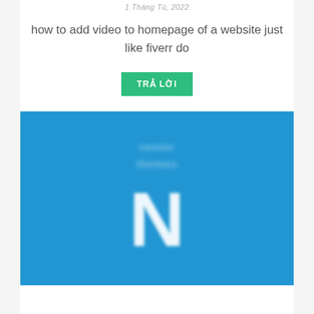1 Tháng Tú, 2022
how to add video to homepage of a website just like fiverr do
TRẢ LỜI
[Figure (illustration): Blue background image with blurred text and a large white letter N, resembling a logo or avatar placeholder]